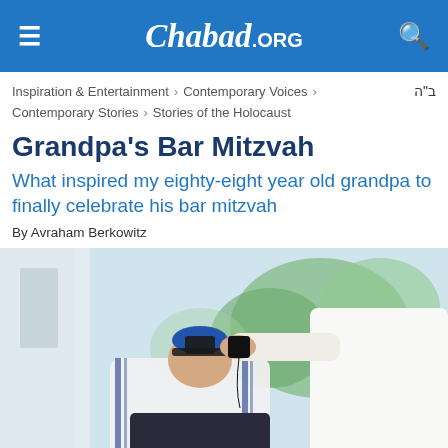Chabad.ORG
Inspiration & Entertainment > Contemporary Voices > ב"ה Contemporary Stories > Stories of the Holocaust
Grandpa's Bar Mitzvah
What inspired my eighty-eight year old grandpa to finally celebrate his bar mitzvah
By Avraham Berkowitz
[Figure (photo): An elderly man wearing a tallit and blue kippah bows his head while another person in white places tefillin on his head. Green foliage is visible in the background.]